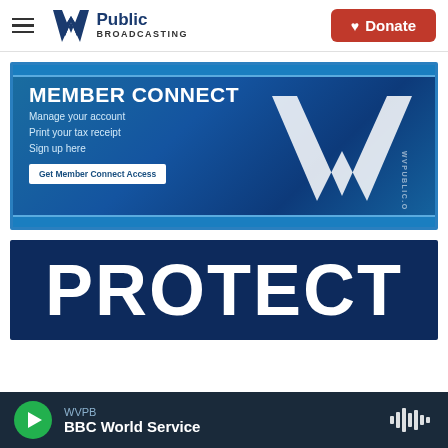[Figure (logo): WV Public Broadcasting logo with hamburger menu icon and Donate button]
[Figure (infographic): Member Connect banner: 'MEMBER CONNECT - Manage your account, Print your tax receipt, Sign up here' with 'Get Member Connect Access' button, WV Public Broadcasting logo watermark and wvpublic.org text]
[Figure (infographic): Dark navy banner with large white text 'PROTECT']
WVPB BBC World Service